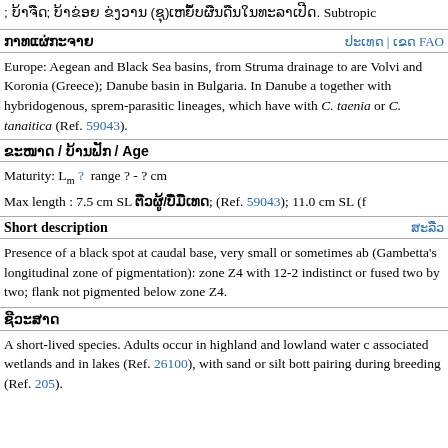; ບ້າຈືດ; ບ້າຂ່ອຍ ຂ່ງວານ (ຊຸ)ເຫຍຶ້ບຜືນດືນໃນທະລາເປີດ. Subtropic
ກາທແຜ່ກະຈາຍ
Europe: Aegean and Black Sea basins, from Struma drainage to are Volvi and Koronia (Greece); Danube basin in Bulgaria. In Danube a together with hybridogenous, sprem-parasitic lineages, which have with C. taenia or C. tanaitica (Ref. 59043).
ຂະໜາດ / ບ້ານຟັກ / Age
Maturity: Lm ?  range ? - ? cm
Max length : 7.5 cm SL ຕືວຜູ້/ບ່ືມືເທດ; (Ref. 59043); 11.0 cm SL (f
Short description
Presence of a black spot at caudal base, very small or sometimes ab (Gambetta's longitudinal zone of pigmentation): zone Z4 with 12-2 indistinct or fused two by two; flank not pigmented below zone Z4.
ຊີວະສາດ
A short-lived species. Adults occur in highland and lowland water c associated wetlands and in lakes (Ref. 26100), with sand or silt bott pairing during breeding (Ref. 205).